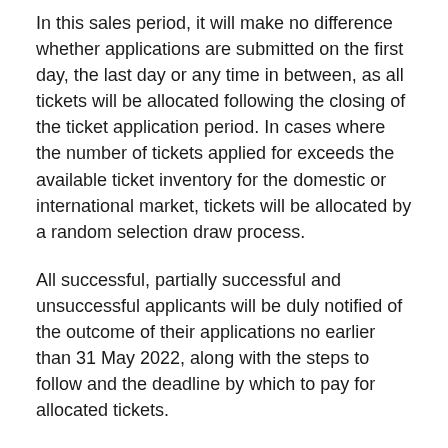In this sales period, it will make no difference whether applications are submitted on the first day, the last day or any time in between, as all tickets will be allocated following the closing of the ticket application period. In cases where the number of tickets applied for exceeds the available ticket inventory for the domestic or international market, tickets will be allocated by a random selection draw process.
All successful, partially successful and unsuccessful applicants will be duly notified of the outcome of their applications no earlier than 31 May 2022, along with the steps to follow and the deadline by which to pay for allocated tickets.
The full breakdown of products on offer via FIFA.com/tickets:
– Individual Match Tickets